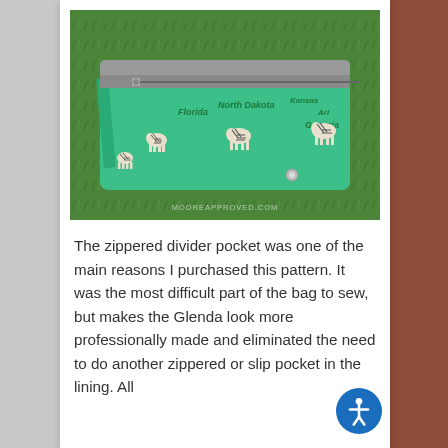[Figure (photo): A green fabric purse/bag with zebra print and US state names embroidered (Florida, North Dakota, Kansas, Georgia, Arizona) lying open on grass. The bag has a gray lining visible at top and a strap. Watermark reads MOOREAPPROVED.COM.]
The zippered divider pocket was one of the main reasons I purchased this pattern. It was the most difficult part of the bag to sew, but makes the Glenda look more professionally made and eliminated the need to do another zippered or slip pocket in the lining. All